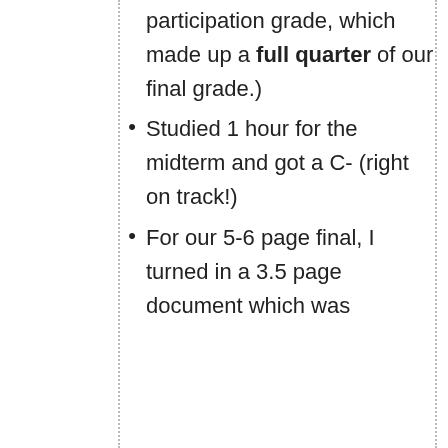participation grade, which made up a full quarter of our final grade.)
Studied 1 hour for the midterm and got a C- (right on track!)
For our 5-6 page final, I turned in a 3.5 page document which was